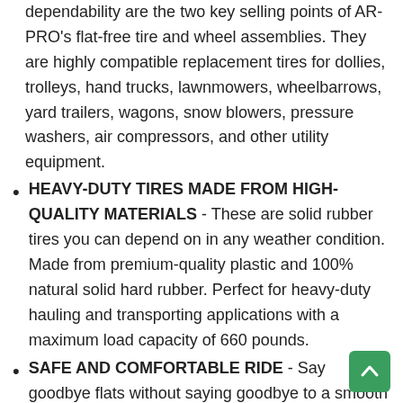dependability are the two key selling points of AR-PRO's flat-free tire and wheel assemblies. They are highly compatible replacement tires for dollies, trolleys, hand trucks, lawnmowers, wheelbarrows, yard trailers, wagons, snow blowers, pressure washers, air compressors, and other utility equipment.
HEAVY-DUTY TIRES MADE FROM HIGH-QUALITY MATERIALS - These are solid rubber tires you can depend on in any weather condition. Made from premium-quality plastic and 100% natural solid hard rubber. Perfect for heavy-duty hauling and transporting applications with a maximum load capacity of 660 pounds.
SAFE AND COMFORTABLE RIDE - Say goodbye flats without saying goodbye to a smooth and comfortable ride. AR-PRO flat-free tires provide convenience, safety, and comfort. With 4X thicker rubber walls, these tires will provide optimum